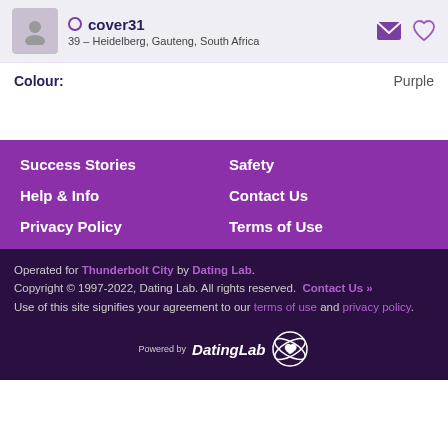cover31 — 39 – Heidelberg, Gauteng, South Africa
Colour: Purple
Success Stories
Safety
Help & Info
Contact Us
Privacy Policy
Terms of Use
Operated for Thunderbolt City by Dating Lab. Copyright © 1997-2022, Dating Lab. All rights reserved. Contact Us » Use of this site signifies your agreement to our terms of use and privacy policy.
[Figure (logo): Powered by DatingLab logo with atom/heart icon]